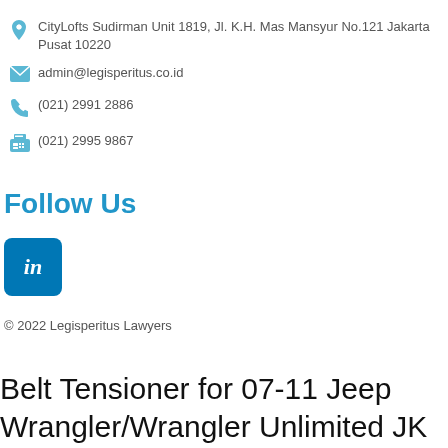CityLofts Sudirman Unit 1819, Jl. K.H. Mas Mansyur No.121 Jakarta Pusat 10220
admin@legisperitus.co.id
(021) 2991 2886
(021) 2995 9867
Follow Us
[Figure (logo): LinkedIn logo button — blue rounded square with 'in' in white italic text]
© 2022 Legisperitus Lawyers
Belt Tensioner for 07-11 Jeep Wrangler/Wrangler Unlimited JK Crown